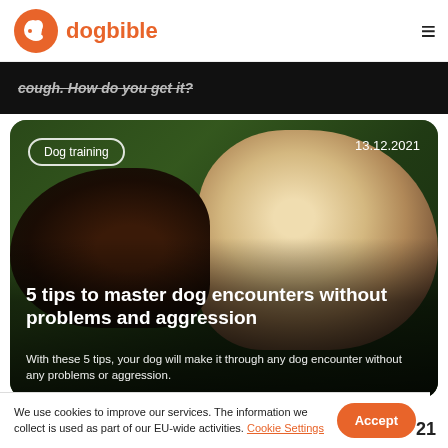dogbible
[Figure (photo): Two dogs facing each other aggressively — a dark brown dog on the left and a white/cream dog on the right — with a blurred green outdoor background. Text overlay: 'Dog training', '13.12.2021', '5 tips to master dog encounters without problems and aggression', 'With these 5 tips, your dog will make it through any dog encounter without any problems or aggression.']
We use cookies to improve our services. The information we collect is used as part of our EU-wide activities. Cookie Settings
Accept
21